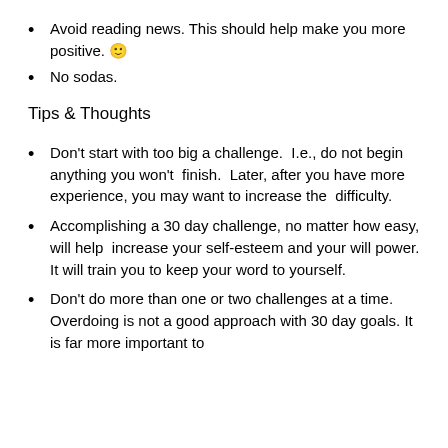Avoid reading news. This should help make you more positive. 🙂
No sodas.
Tips & Thoughts
Don't start with too big a challenge.  I.e., do not begin anything you won't  finish.  Later, after you have more experience, you may want to increase the  difficulty.
Accomplishing a 30 day challenge, no matter how easy, will help  increase your self-esteem and your will power. It will train you to keep your word to yourself.
Don't do more than one or two challenges at a time. Overdoing is not a good approach with 30 day goals. It is far more important to